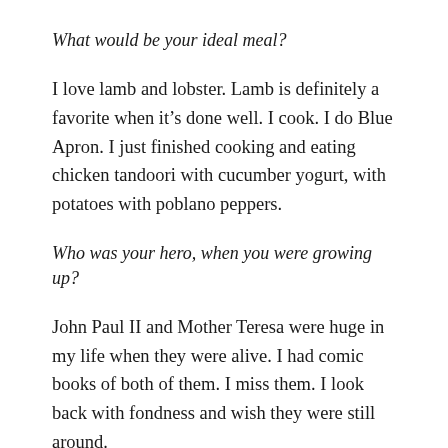What would be your ideal meal?
I love lamb and lobster. Lamb is definitely a favorite when it’s done well. I cook. I do Blue Apron. I just finished cooking and eating chicken tandoori with cucumber yogurt, with potatoes with poblano peppers.
Who was your hero, when you were growing up?
John Paul II and Mother Teresa were huge in my life when they were alive. I had comic books of both of them. I miss them. I look back with fondness and wish they were still around.
What attracted you to them?